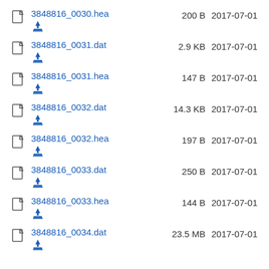3848816_0030.hea  200 B  2017-07-01
3848816_0031.dat  2.9 KB  2017-07-01
3848816_0031.hea  147 B  2017-07-01
3848816_0032.dat  14.3 KB  2017-07-01
3848816_0032.hea  197 B  2017-07-01
3848816_0033.dat  250 B  2017-07-01
3848816_0033.hea  144 B  2017-07-01
3848816_0034.dat  23.5 MB  2017-07-01